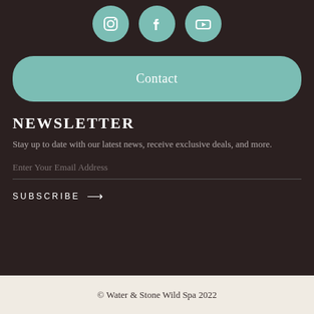[Figure (illustration): Three social media icons (Instagram, Facebook, YouTube) in teal circular buttons on dark background]
Contact
NEWSLETTER
Stay up to date with our latest news, receive exclusive deals, and more.
Enter Your Email Address
SUBSCRIBE →
© Water & Stone Wild Spa 2022